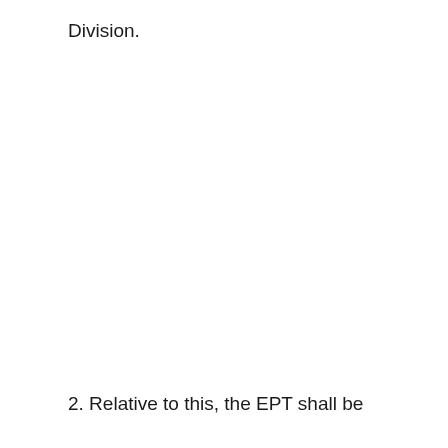Division.
2. Relative to this, the EPT shall be